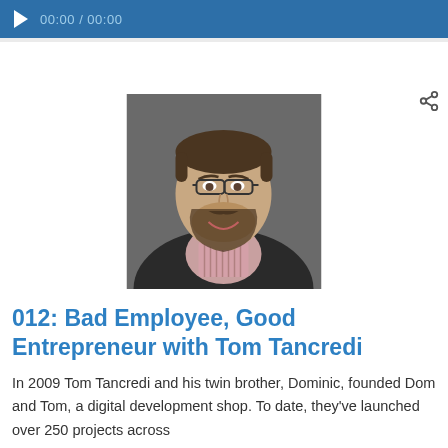00:00 / 00:00
[Figure (photo): Headshot of Tom Tancredi, a man with glasses and a beard, wearing a dark blazer and plaid shirt, smiling, against a gray background]
012: Bad Employee, Good Entrepreneur with Tom Tancredi
In 2009 Tom Tancredi and his twin brother, Dominic, founded Dom and Tom, a digital development shop. To date, they've launched over 250 projects across